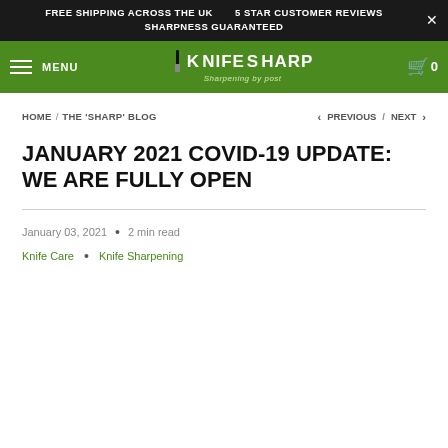FREE SHIPPING ACROSS THE UK   5 STAR CUSTOMER REVIEWS   SHARPNESS GUARANTEED
[Figure (logo): Knife Sharp – Sharpening by post logo on green navigation bar with menu button and cart icon]
HOME / THE 'SHARP' BLOG   < PREVIOUS / NEXT >
JANUARY 2021 COVID-19 UPDATE: WE ARE FULLY OPEN
January 03, 2021  •  2 min read
Knife Care  •  Knife Sharpening